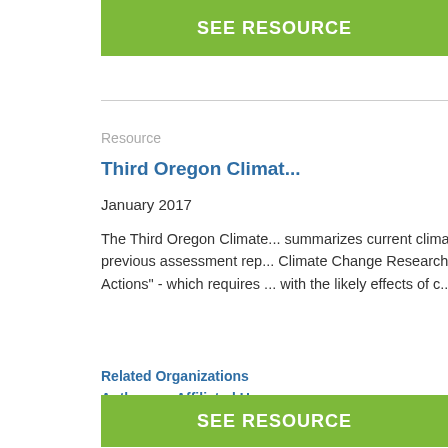SEE RESOURCE
Resource
Third Oregon Climat...
January 2017
The Third Oregon Climate... summarizes current clima... previous assessment rep... Climate Change Research... Actions" - which requires ... with the likely effects of c...
Related Organizations
Authors or Affiliated U...
Resource Category: Ass...
SEE RESOURCE